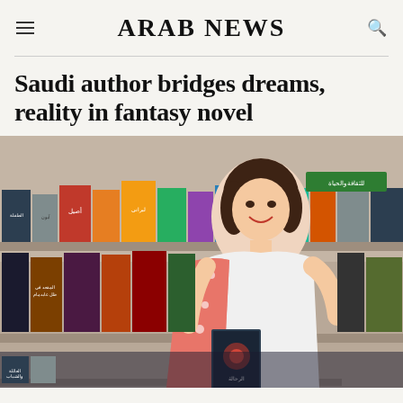ARAB NEWS
Saudi author bridges dreams, reality in fantasy novel
[Figure (photo): A young woman with short dark hair, smiling, wearing a white top and pink patterned blazer, standing in a bookstore in front of shelves filled with Arabic books. She is holding a dark book with Arabic text 'الرحالة' on the cover.]